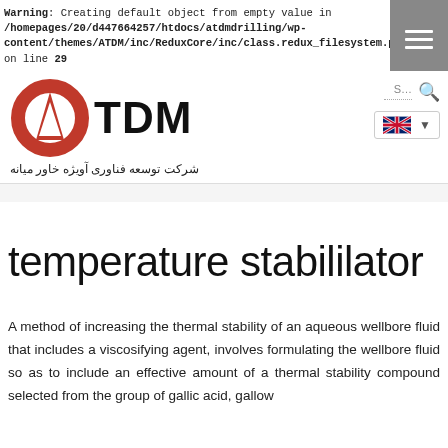Warning: Creating default object from empty value in /homepages/20/d447664257/htdocs/atdmdrilling/wp-content/themes/ATDM/inc/ReduxCore/inc/class.redux_filesystem.php on line 29
[Figure (logo): ATDM company logo with red circular emblem and Persian text below: شرکت توسعه فناوری آویژه خاور میانه]
temperature stabililator
A method of increasing the thermal stability of an aqueous wellbore fluid that includes a viscosifying agent, involves formulating the wellbore fluid so as to include an effective amount of a thermal stability compound selected from the group of gallic acid, gallow